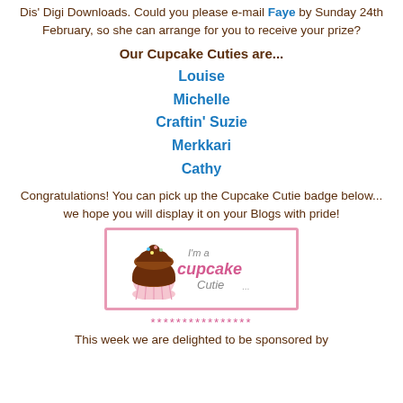Dis' Digi Downloads. Could you please e-mail Faye by Sunday 24th February, so she can arrange for you to receive your prize?
Our Cupcake Cuties are...
Louise
Michelle
Craftin' Suzie
Merkkari
Cathy
Congratulations! You can pick up the Cupcake Cutie badge below... we hope you will display it on your Blogs with pride!
[Figure (illustration): Cupcake Cutie badge with a cartoon cupcake and text 'I'm a cupcake Cutie' inside a pink border]
****************
This week we are delighted to be sponsored by